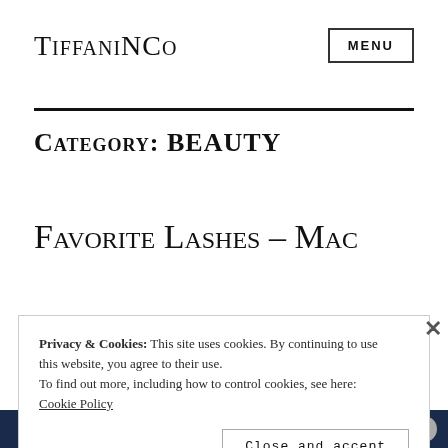TiffaniNCo
Category: BEAUTY
Favorite Lashes – Mac
Privacy & Cookies: This site uses cookies. By continuing to use this website, you agree to their use.
To find out more, including how to control cookies, see here: Cookie Policy
Close and accept